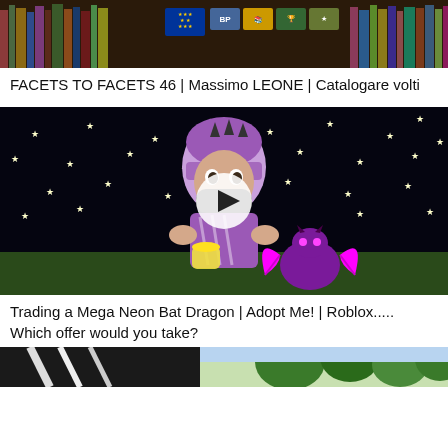[Figure (screenshot): Thumbnail image of a library/bookshelf background with EU flag and various badge icons]
FACETS TO FACETS 46 | Massimo LEONE | Catalogare volti
[Figure (screenshot): Roblox game screenshot showing a character with purple hair holding a neon bat dragon with a play button overlay, set against a dark starry background]
Trading a Mega Neon Bat Dragon | Adopt Me! | Roblox..... Which offer would you take?
[Figure (photo): Partial thumbnail showing a dark structure on the left and green trees on the right]